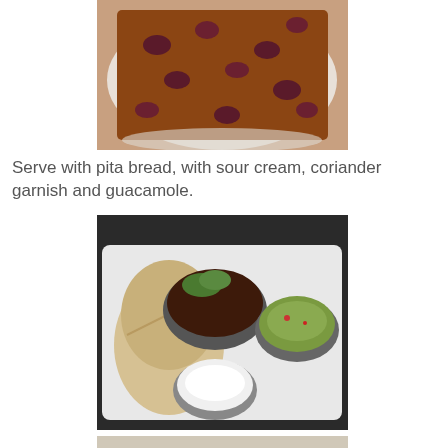[Figure (photo): Close-up photo of chili con carne with kidney beans on a white plate]
Serve with pita bread, with sour cream, coriander garnish and guacamole.
[Figure (photo): Photo of chili con carne served with pita bread, sour cream in a bowl, and guacamole in a bowl on a white tray, garnished with coriander]
[Figure (photo): Partial photo at bottom of page, appears to be another food serving]